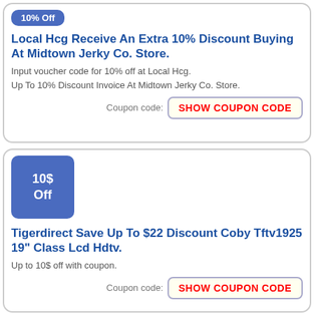[Figure (other): Blue badge/pill button at top of first coupon card]
Local Hcg Receive An Extra 10% Discount Buying At Midtown Jerky Co. Store.
Input voucher code for 10% off at Local Hcg.
Up To 10% Discount Invoice At Midtown Jerky Co. Store.
Coupon code: SHOW COUPON CODE
[Figure (other): Blue square badge showing '10$ Off' for second coupon card]
Tigerdirect Save Up To $22 Discount Coby Tftv1925 19" Class Lcd Hdtv.
Up to 10$ off with coupon.
Coupon code: SHOW COUPON CODE